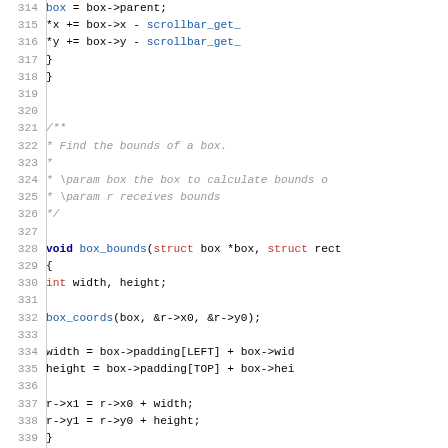[Figure (screenshot): Source code listing in C, lines 314-344, showing box coordinate and bounds functions with syntax highlighting. Line numbers in grey on left, keywords in dark blue bold, function names in blue, type keywords in red, comments in grey italic.]